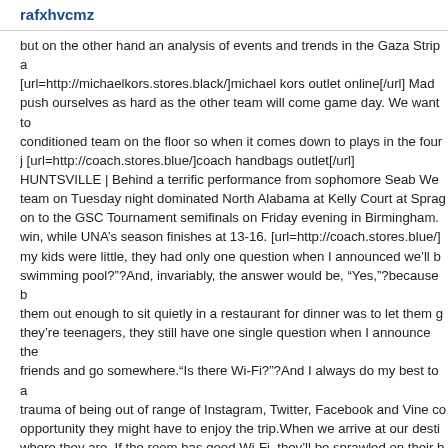rafxhvcmz
but on the other hand an analysis of events and trends in the Gaza Strip a... [url=http://michaelkors.stores.black/]michael kors outlet online[/url] Mad... push ourselves as hard as the other team will come game day. We want to... conditioned team on the floor so when it comes down to plays in the four... j [url=http://coach.stores.blue/]coach handbags outlet[/url] HUNTSVILLE | Behind a terrific performance from sophomore Seab We... team on Tuesday night dominated North Alabama at Kelly Court at Sprag... on to the GSC Tournament semifinals on Friday evening in Birmingham. ... win, while UNA's season finishes at 13-16. [url=http://coach.stores.blue/]... my kids were little, they had only one question when I announced we’ll b... swimming pool?”?And, invariably, the answer would be, “Yes,”?because b... them out enough to sit quietly in a restaurant for dinner was to let them g... they’re teenagers, they still have one single question when I announce the... friends and go somewhere.“Is there Wi-Fi?”?And I always do my best to a... trauma of being out of range of Instagram, Twitter, Facebook and Vine co... opportunity they might have to enjoy the trip.When we arrive at our desti... where they are. If the room has good Wi-Fi, they’ll be sprawled on their b... communicating with all the friends from whom they were cruelly parted.T... several hours and last until grumbling stomachs finally force them to leav... nourishment.Seeing the Great Pyramid of Giza? Viewing Old Faithful Ge... grizzly bear eating a salmon in Alaska?The teens might acknowledge tha... really secondary to their primary need to be in touch with the latest break... their high school back home.Which is where they would prefer to be if th...